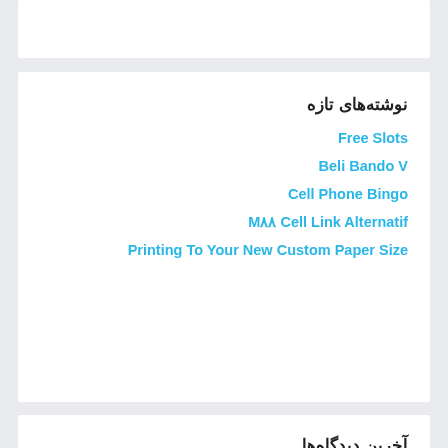نوشته‌های تازه
Free Slots
Beli Bando V
Cell Phone Bingo
M۸۸ Cell Link Alternatif
Printing To Your New Custom Paper Size
آخرین دیدگاه‌ها